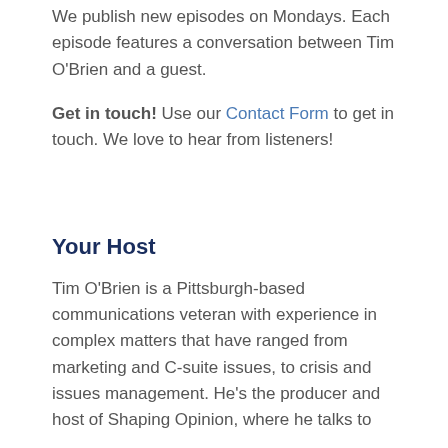We publish new episodes on Mondays. Each episode features a conversation between Tim O'Brien and a guest.
Get in touch! Use our Contact Form to get in touch. We love to hear from listeners!
Your Host
Tim O'Brien is a Pittsburgh-based communications veteran with experience in complex matters that have ranged from marketing and C-suite issues, to crisis and issues management. He's the producer and host of Shaping Opinion, where he talks to